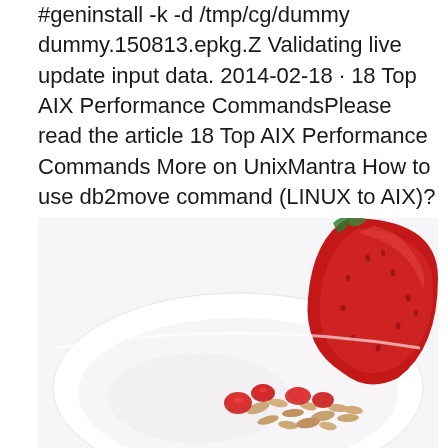#geninstall -k -d /tmp/cg/dummy dummy.150813.epkg.Z Validating live update input data. 2014-02-18 · 18 Top AIX Performance CommandsPlease read the article 18 Top AIX Performance Commands More on UnixMantra How to use db2move command (LINUX to AIX)? I need to export data from linux OS to aix OS ? Very urgent ..
[Figure (photo): A white bowl containing yogurt or cereal topped with fresh strawberry slices and oat granola, on a white background.]